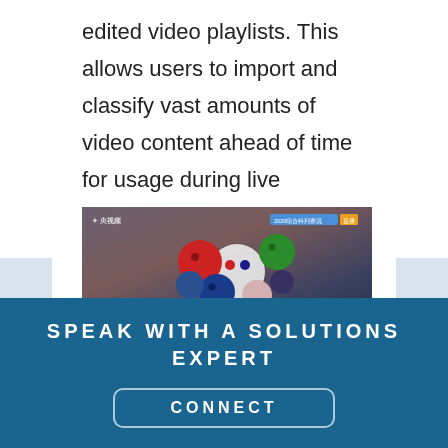edited video playlists. This allows users to import and classify vast amounts of video content ahead of time for usage during live broadcasting.
[Figure (screenshot): Screenshot of a video platform (央视频) showing colorful spherical objects against a dark background, with a blue header bar and badge overlay.]
SPEAK WITH A SOLUTIONS EXPERT
CONNECT